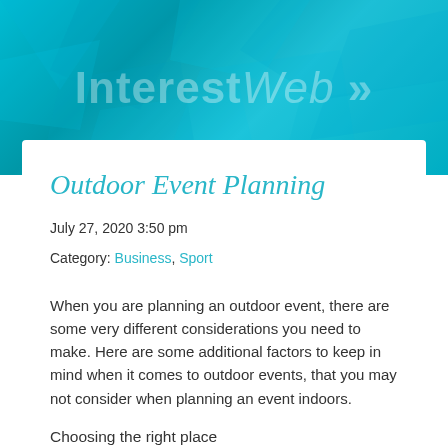InterestWeb >>
Outdoor Event Planning
July 27, 2020 3:50 pm
Category: Business, Sport
When you are planning an outdoor event, there are some very different considerations you need to make. Here are some additional factors to keep in mind when it comes to outdoor events, that you may not consider when planning an event indoors.
Choosing the right place